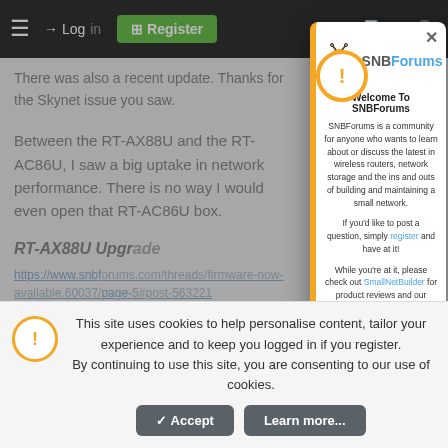SNBForums navigation bar with hamburger menu, Log in, Register, and icon buttons
There was also a recent update. Thanks for the Skynet issue you saw.
Between the RT-AX88U and the RT-AC86U, I saw a big uptake in network performance. There is no way I would even open that RT-AC86U box.
RT-AX88U Upgrade
https://www.snbforums.com/threads/firmware-now-available.60037/page-5#post-563221
[Figure (screenshot): SNBForums welcome modal dialog with bee mascot logo, welcome text, and community description]
This site uses cookies to help personalise content, tailor your experience and to keep you logged in if you register.
By continuing to use this site, you are consenting to our use of cookies.